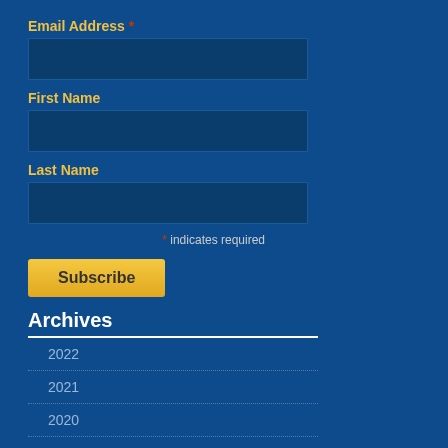Email Address *
First Name
Last Name
* indicates required
Subscribe
Archives
2022
2021
2020